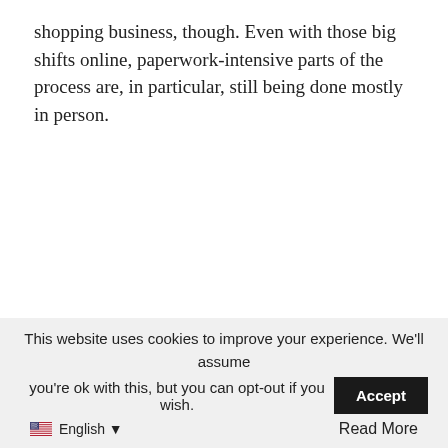shopping business, though. Even with those big shifts online, paperwork-intensive parts of the process are, in particular, still being done mostly in person.
This website uses cookies to improve your experience. We'll assume you're ok with this, but you can opt-out if you wish. [Accept] English ▼ Read More